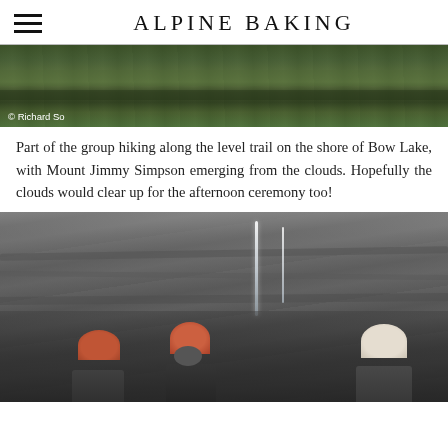ALPINE BAKING
[Figure (photo): Partial view of a lake with reflections of trees and mountains, with photo credit '© Richard So']
Part of the group hiking along the level trail on the shore of Bow Lake, with Mount Jimmy Simpson emerging from the clouds. Hopefully the clouds would clear up for the afternoon ceremony too!
[Figure (photo): Group of hikers at the base of large rocky cliffs with a waterfall cascading down the rock face. Several people wearing hats are visible in the foreground.]